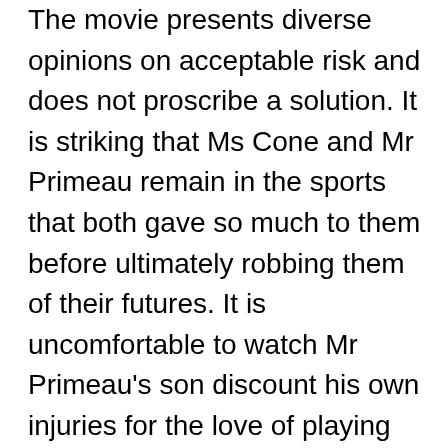The movie presents diverse opinions on acceptable risk and does not proscribe a solution. It is striking that Ms Cone and Mr Primeau remain in the sports that both gave so much to them before ultimately robbing them of their futures. It is uncomfortable to watch Mr Primeau's son discount his own injuries for the love of playing hockey. With few exceptions, the viewer sees teenager after teenager say that, given the choice, they would choose playing over brain health. Sport is a powerful social experience. Life lessons are learned, friendships are made, and camaraderie experienced. How do we  balance these benefits with the potential harm that may result from sports? The film very soberly presents both sides of the equation and lets the viewer make up his or her own mind. Because of this even-handed presentation, the film will stay with the viewer for a long time as she or he contemplates the complexities of the issues.